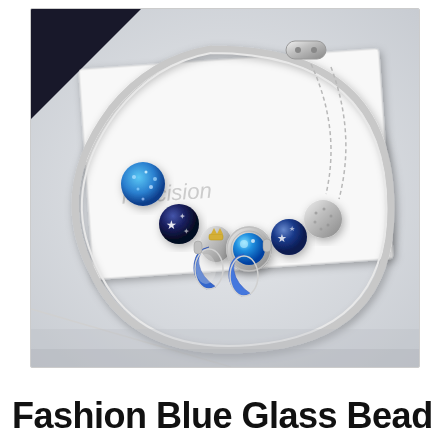[Figure (photo): A silver charm bracelet with multiple blue and silver beads including blue crystal ball, dark blue glass beads with white stars, blue crescent moon charms, and a central blue gemstone charm, displayed on a white gift box background]
Fashion Blue Glass Bead